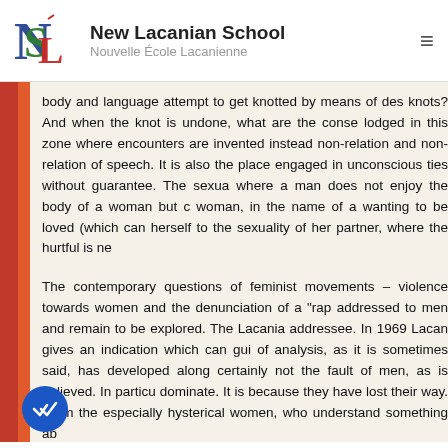[Figure (logo): New Lacanian School logo with interlocking N, S, L letters in red, green, blue on white background]
New Lacanian School
Nouvelle École Lacanienne
body and language attempt to get knotted by means of des knots? And when the knot is undone, what are the conse lodged in this zone where encounters are invented instead non-relation and non-relation of speech. It is also the place engaged in unconscious ties without guarantee. The sexua where a man does not enjoy the body of a woman but c woman, in the name of a wanting to be loved (which can herself to the sexuality of her partner, where the hurtful is ne
The contemporary questions of feminist movements – violence towards women and the denunciation of a "rap addressed to men and remain to be explored. The Lacania addressee. In 1969 Lacan gives an indication which can gui of analysis, as it is sometimes said, has developed along certainly not the fault of men, as is believed. In particu dominate. It is because they have lost their way. From the especially hysterical women, who understand something ab